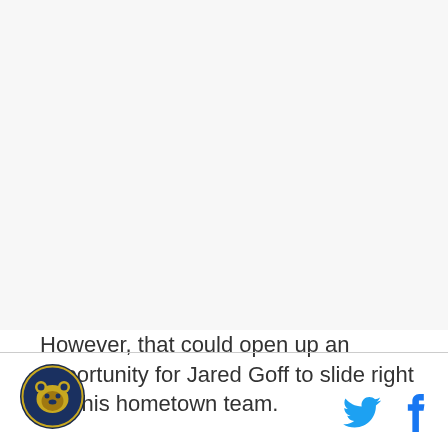[Figure (photo): Large image area placeholder at the top of the page (white/light gray background)]
However, that could open up an opportunity for Jared Goff to slide right into his hometown team.

The 49ers have the seventh overall pick in the 2016
[Figure (logo): Circular team logo with a bear/animal head on dark background, yellow and blue colors (Cal Bears or similar)]
[Figure (logo): Twitter bird icon in light blue]
[Figure (logo): Facebook 'f' icon in blue]